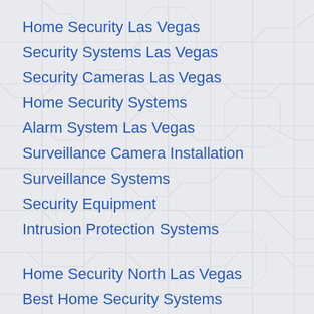Home Security Las Vegas
Security Systems Las Vegas
Security Cameras Las Vegas
Home Security Systems
Alarm System Las Vegas
Surveillance Camera Installation
Surveillance Systems
Security Equipment
Intrusion Protection Systems
Home Security North Las Vegas
Best Home Security Systems
Video Surveillance Las Vegas